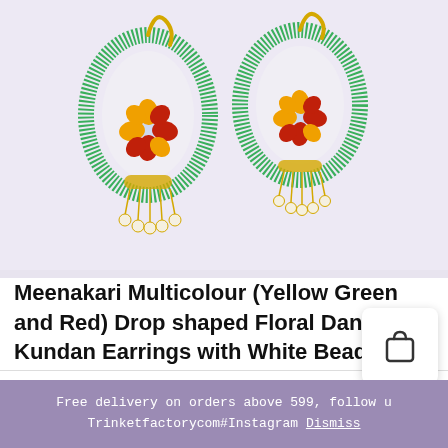[Figure (photo): Two Meenakari multicolour drop-shaped floral dangler kundan earrings with yellow, green, and red enamel work, white pearl beads, and gold-toned metal, displayed on a light lavender background.]
Meenakari Multicolour (Yellow Green and Red) Drop shaped Floral Dangler Kundan Earrings with White Beads
₹300.00  ₹99.00
Free delivery on orders above 599, follow u... Trinketfactorycom#Instagram Dismiss